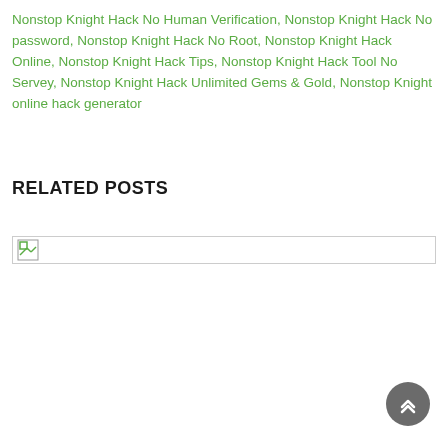Nonstop Knight Hack No Human Verification, Nonstop Knight Hack No password, Nonstop Knight Hack No Root, Nonstop Knight Hack Online, Nonstop Knight Hack Tips, Nonstop Knight Hack Tool No Servey, Nonstop Knight Hack Unlimited Gems & Gold, Nonstop Knight online hack generator
RELATED POSTS
[Figure (photo): Broken/loading image placeholder with small image icon in top-left corner]